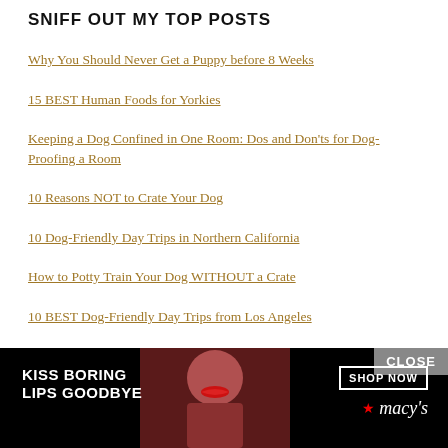SNIFF OUT MY TOP POSTS
Why You Should Never Get a Puppy before 8 Weeks
15 BEST Human Foods for Yorkies
Keeping a Dog Confined in One Room: Dos and Don'ts for Dog-Proofing a Room
10 Reasons NOT to Crate Your Dog
10 Dog-Friendly Day Trips in Northern California
How to Potty Train Your Dog WITHOUT a Crate
10 BEST Dog-Friendly Day Trips from Los Angeles
How to STOP a Yorkie from Barking in the House (partial)
[Figure (screenshot): Macy's advertisement banner: 'KISS BORING LIPS GOODBYE' with SHOP NOW button and Macy's logo with star, overlaid on photo of woman with red lips]